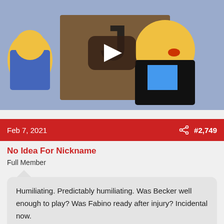[Figure (screenshot): Simpsons cartoon video thumbnail showing animated characters at a bar, with a play button overlay]
Feb 7, 2021
#2,749
No Idea For Nickname
Full Member
Humiliating. Predictably humiliating. Was Becker well enough to play? Was Fabino ready after injury? Incidental now.